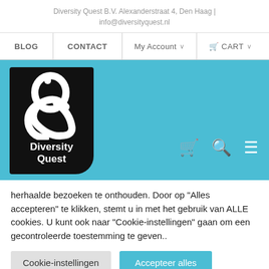Diversity Quest B.V. Alexanderstraat 4, Den Haag | info@diversityquest.nl
[Figure (screenshot): Navigation bar with links: BLOG, CONTACT, My Account (dropdown), CART (dropdown)]
[Figure (logo): Diversity Quest logo — black block with white ampersand-like symbol and text 'Diversity Quest', on a light blue background. Mobile icons (cart, search, menu) on the right.]
herhaalde bezoeken te onthouden. Door op "Alles accepteren" te klikken, stemt u in met het gebruik van ALLE cookies. U kunt ook naar "Cookie-instellingen" gaan om een gecontroleerde toestemming te geven..
Cookie-instellingen   Accepteer alles